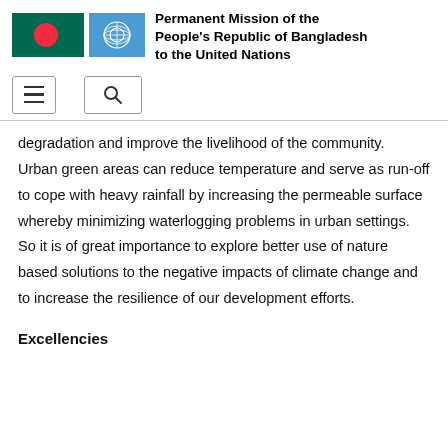[Figure (logo): Bangladesh national flag (green background with red circle) and United Nations emblem (UN logo on light blue background) side by side]
Permanent Mission of the People's Republic of Bangladesh to the United Nations
[Figure (infographic): Navigation bar with hamburger menu icon and search icon]
degradation and improve the livelihood of the community.  Urban green areas can reduce temperature and serve as run-off to cope with heavy rainfall by increasing the permeable surface whereby minimizing waterlogging problems in urban settings. So it is of great importance to explore better use of nature based solutions to the negative impacts of climate change and to increase the resilience of our development efforts.
Excellencies